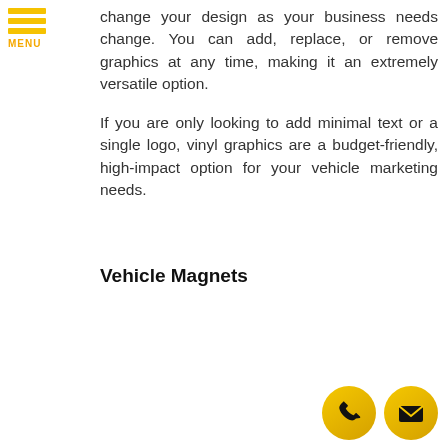MENU
change your design as your business needs change. You can add, replace, or remove graphics at any time, making it an extremely versatile option.
If you are only looking to add minimal text or a single logo, vinyl graphics are a budget-friendly, high-impact option for your vehicle marketing needs.
Vehicle Magnets
[Figure (illustration): Two circular yellow icon buttons at bottom right: a phone handset icon and an envelope/mail icon]